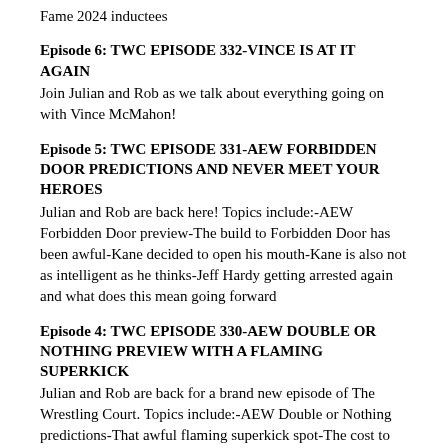Fame 2024 inductees
Episode 6: TWC EPISODE 332-VINCE IS AT IT AGAIN
Join Julian and Rob as we talk about everything going on with Vince McMahon!
Episode 5: TWC EPISODE 331-AEW FORBIDDEN DOOR PREDICTIONS AND NEVER MEET YOUR HEROES
Julian and Rob are back here! Topics include:-AEW Forbidden Door preview-The build to Forbidden Door has been awful-Kane decided to open his mouth-Kane is also not as intelligent as he thinks-Jeff Hardy getting arrested again and what does this mean going forward
Episode 4: TWC EPISODE 330-AEW DOUBLE OR NOTHING PREVIEW WITH A FLAMING SUPERKICK
Julian and Rob are back for a brand new episode of The Wrestling Court. Topics include:-AEW Double or Nothing predictions-That awful flaming superkick spot-The cost to see Ric Flair’s last match in person-Megacon’s rules for meeting The Undertaker-The great ending of last week’s Smackdown
Episode 3: TWC EPISPDE 329-QUICK WRESTLEMANIA BACKLASH PREVIEW
I go solo as I give my predictions on what could happen on tonight’s Wrestlemania Backlash!